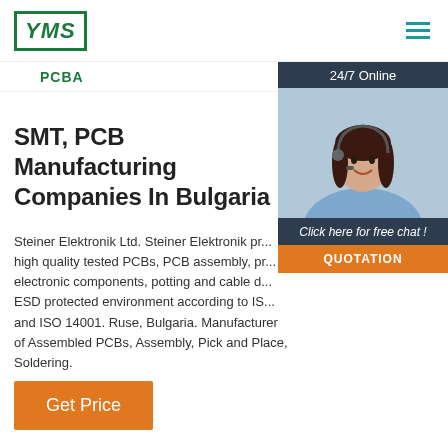YMS
PCBA
STENCIL
[Figure (photo): Customer service representative wearing headset, smiling, with 24/7 Online label, Click here for free chat text, and QUOTATION button]
SMT, PCB Manufacturing Companies In Bulgaria
Steiner Elektronik Ltd. Steiner Elektronik provides high quality tested PCBs, PCB assembly, programmed electronic components, potting and cable d... ESD protected environment according to IS... and ISO 14001. Ruse, Bulgaria. Manufacturer of Assembled PCBs, Assembly, Pick and Place, Soldering.
Get Price